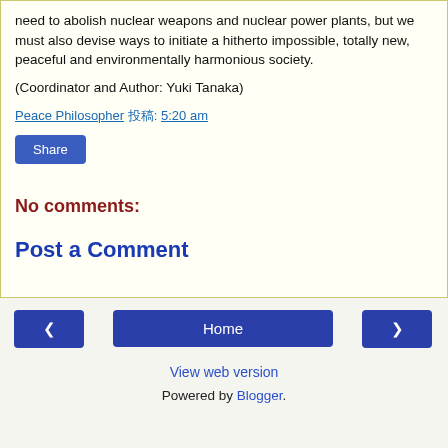need to abolish nuclear weapons and nuclear power plants, but we must also devise ways to initiate a hitherto impossible, totally new, peaceful and environmentally harmonious society.
(Coordinator and Author: Yuki Tanaka)
Peace Philosopher 投稿: 5:20 am
Share
No comments:
Post a Comment
◄  Home  ►  View web version  Powered by Blogger.